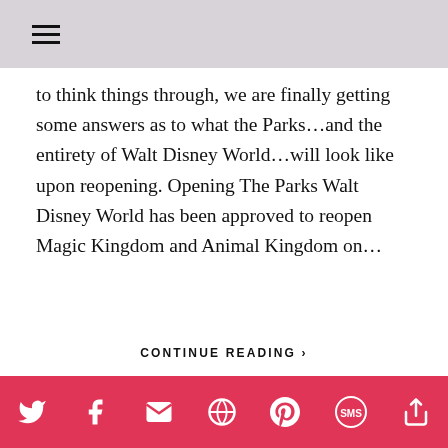☰
to think things through, we are finally getting some answers as to what the Parks…and the entirety of Walt Disney World…will look like upon reopening. Opening The Parks Walt Disney World has been approved to reopen Magic Kingdom and Animal Kingdom on…
CONTINUE READING ›
💬 4
Advertisements